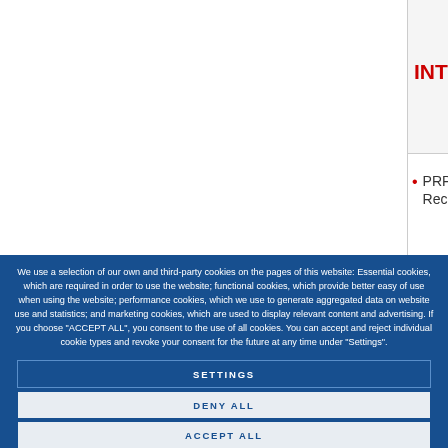INTERIOR M
PRP Enduro Reclining
We use a selection of our own and third-party cookies on the pages of this website: Essential cookies, which are required in order to use the website; functional cookies, which provide better easy of use when using the website; performance cookies, which we use to generate aggregated data on website use and statistics; and marketing cookies, which are used to display relevant content and advertising. If you choose "ACCEPT ALL", you consent to the use of all cookies. You can accept and reject individual cookie types and revoke your consent for the future at any time under "Settings".
Privacy policy
SETTINGS
DENY ALL
ACCEPT ALL